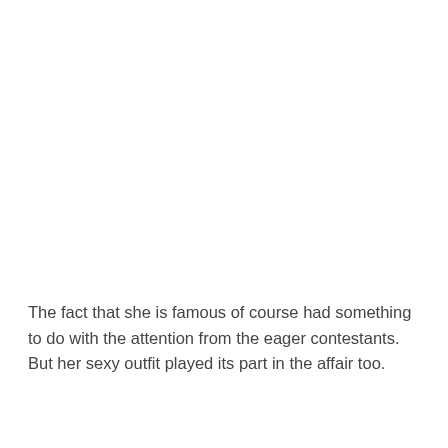The fact that she is famous of course had something to do with the attention from the eager contestants. But her sexy outfit played its part in the affair too.